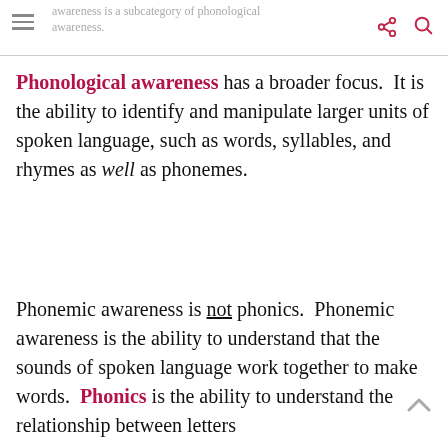awareness is a subcategory of phonological awareness.
Phonological awareness has a broader focus. It is the ability to identify and manipulate larger units of spoken language, such as words, syllables, and rhymes as well as phonemes.
Phonemic awareness is not phonics. Phonemic awareness is the ability to understand that the sounds of spoken language work together to make words. Phonics is the ability to understand the relationship between letters